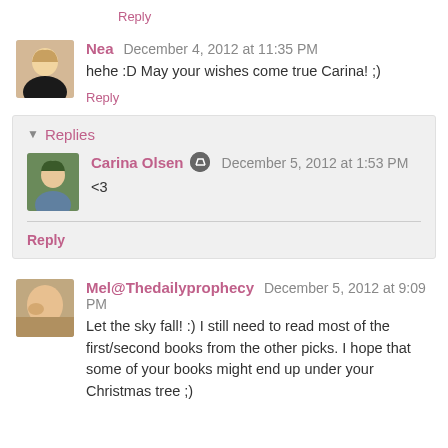Reply
Nea December 4, 2012 at 11:35 PM
hehe :D May your wishes come true Carina! ;)
Reply
Replies
Carina Olsen December 5, 2012 at 1:53 PM
<3
Reply
Mel@Thedailyprophecy December 5, 2012 at 9:09 PM
Let the sky fall! :) I still need to read most of the first/second books from the other picks. I hope that some of your books might end up under your Christmas tree ;)